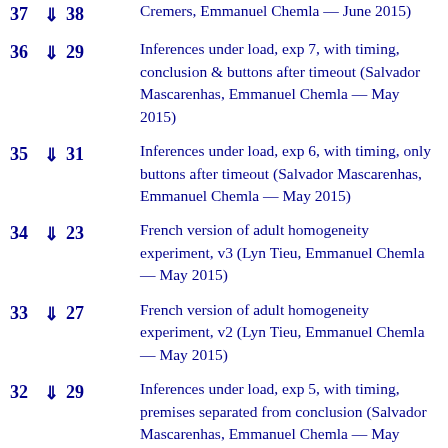37 ↓ 38 Cremers, Emmanuel Chemla — June 2015)
36 ↓ 29 Inferences under load, exp 7, with timing, conclusion & buttons after timeout (Salvador Mascarenhas, Emmanuel Chemla — May 2015)
35 ↓ 31 Inferences under load, exp 6, with timing, only buttons after timeout (Salvador Mascarenhas, Emmanuel Chemla — May 2015)
34 ↓ 23 French version of adult homogeneity experiment, v3 (Lyn Tieu, Emmanuel Chemla — May 2015)
33 ↓ 27 French version of adult homogeneity experiment, v2 (Lyn Tieu, Emmanuel Chemla — May 2015)
32 ↓ 29 Inferences under load, exp 5, with timing, premises separated from conclusion (Salvador Mascarenhas, Emmanuel Chemla — May 2015)
31 ↓ 20 Gestures projection, pilot (Robert Pasternak, Philippe Schlenker, Emmanuel Chemla — May 2015)
30  140 Mouse tracking 3, scope and plurals versions (Mora Maldonado, Emmanuel Chemla — April